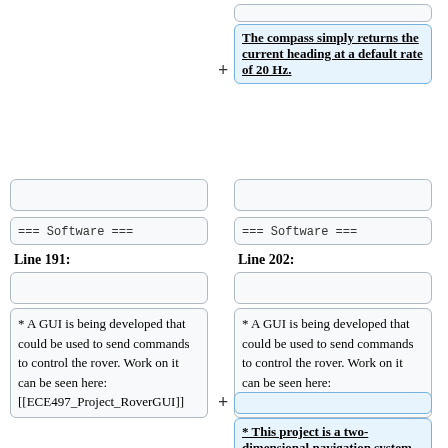[top gray box right col - empty]
The compass simply returns the current heading at a default rate of 20 Hz.
[empty gray box left col]
[empty gray box right col]
=== Software ===
=== Software ===
Line 191:
Line 202:
[empty gray box left col]
[empty gray box right col]
* A GUI is being developed that could be used to send commands to control the rover. Work on it can be seen here: [[ECE497_Project_RoverGUI]]
* A GUI is being developed that could be used to send commands to control the rover. Work on it can be seen here: [[ECE497_Project_RoverGUI]]
[empty blue box right col]
* This project is a two-dimensional navigation system